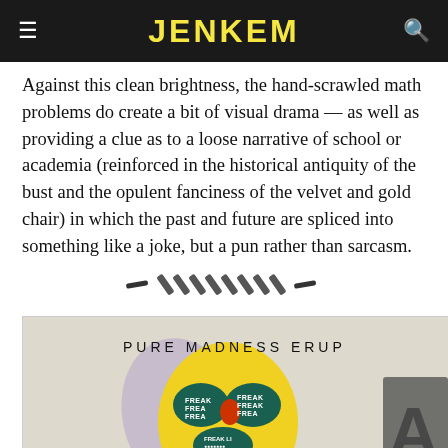JENKEM
Against this clean brightness, the hand-scrawled math problems do create a bit of visual drama — as well as providing a clue as to a loose narrative of school or academia (reinforced in the historical antiquity of the bust and the opulent fanciness of the velvet and gold chair) in which the past and future are spliced into something like a joke, but a pun rather than sarcasm.
[Figure (illustration): Decorative divider made of diagonal brush strokes resembling slashes and dashes]
[Figure (photo): Artwork showing a yellow face with text reading 'PURE MADNESS ERUP' at the top and 'FREAK' written multiple times around the eyes and mouth area, with dripping black lines]